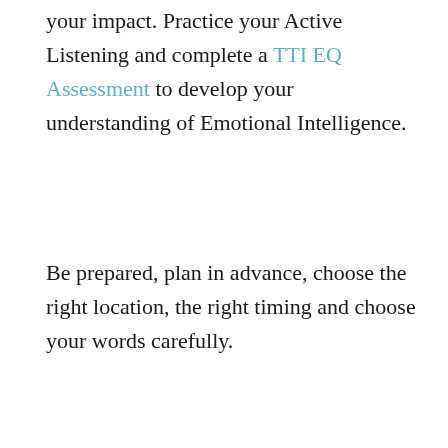your impact. Practice your Active Listening and complete a TTI EQ Assessment to develop your understanding of Emotional Intelligence.
Be prepared, plan in advance, choose the right location, the right timing and choose your words carefully.